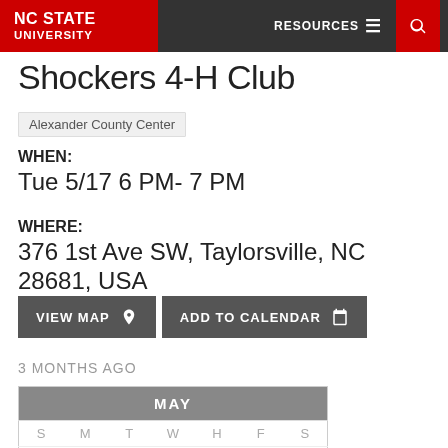NC STATE UNIVERSITY | RESOURCES | Search
Shockers 4-H Club
Alexander County Center
WHEN: Tue 5/17 6 PM- 7 PM
WHERE: 376 1st Ave SW, Taylorsville, NC 28681, USA
VIEW MAP | ADD TO CALENDAR
3 MONTHS AGO
| MAY |  |  |  |  |  |  |
| --- | --- | --- | --- | --- | --- | --- |
| S | M | T | W | H | F | S |
| 1 | 2 | 3 | 4 | 5 | 6 | 7 |